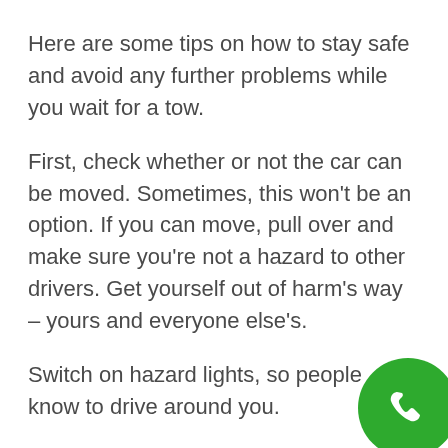Here are some tips on how to stay safe and avoid any further problems while you wait for a tow.
First, check whether or not the car can be moved. Sometimes, this won't be an option. If you can move, pull over and make sure you're not a hazard to other drivers. Get yourself out of harm's way – yours and everyone else's.
Switch on hazard lights, so people know to drive around you.
Stay inside the car, by the way. You